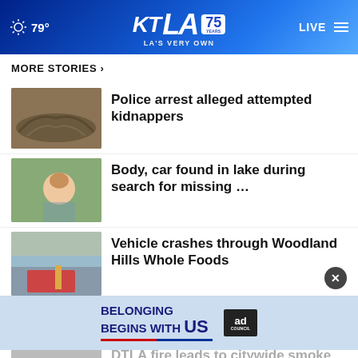79° KTLA 75 YEARS LA'S VERY OWN LIVE
MORE STORIES ›
Police arrest alleged attempted kidnappers
Body, car found in lake during search for missing …
Vehicle crashes through Woodland Hills Whole Foods
Windsor Hills crash: Nurse has license suspended
DTLA fire leads to citywide smoke
[Figure (screenshot): Ad banner: BELONGING BEGINS WITH US — Ad Council]
Hiker missing after flash flood in Zion